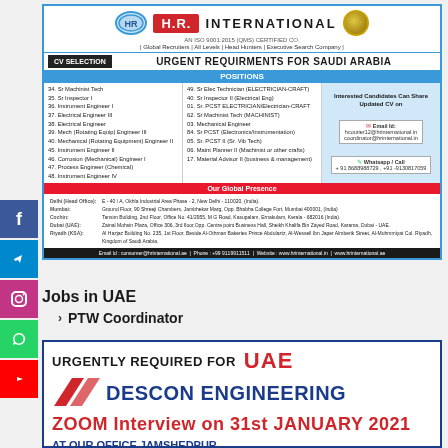[Figure (infographic): H.R. International recruitment ad for urgent requirements for Saudi Arabia. Lists engineering positions including Machinist Tech, Inspector, Instrument Engineer, Electrical Engineers, Mechanical Engineers, PCST roles, and more. Contact details with email and WhatsApp. Office locations in Delhi, Mumbai, Cochin, Dubai, Riyadh.]
Jobs in UAE
PTW Coordinator
[Figure (infographic): Descon Engineering ad: URGENTLY REQUIRED FOR UAE - DESCON ENGINEERING - ZOOM Interview on 31st JANUARY 2021 AT OUR OFFICE JAMSHEDPUR]